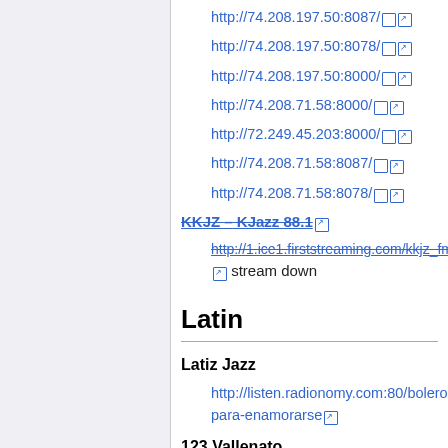http://74.208.197.50:8087/
http://74.208.197.50:8078/
http://74.208.197.50:8000/
http://74.208.71.58:8000/
http://72.249.45.203:8000/
http://74.208.71.58:8087/
http://74.208.71.58:8078/
KKJZ – KJazz 88.1
http://1.ice1.firststreaming.com/kkjz_fm.mp3 stream down
Latin
Latiz Jazz
http://listen.radionomy.com:80/boleros-para-enamorarse
123 Vallenato
http://radiolatina.info:7087/